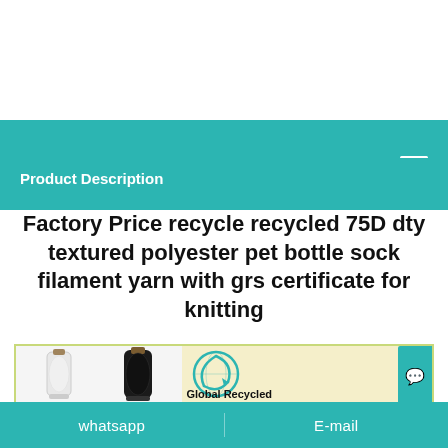Product Description
Factory Price recycle recycled 75D dty textured polyester pet bottle sock filament yarn with grs certificate for knitting
[Figure (photo): Product image showing two spools of yarn (one white, one black) on the left, and a 'Global Recycled' certification logo graphic on the right with a globe and recycling arrow symbol on a light yellow background.]
whatsapp   E-mail